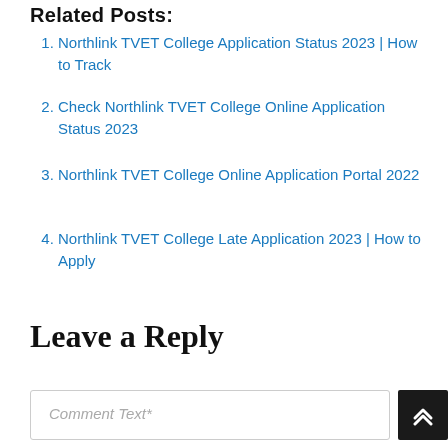Related Posts:
Northlink TVET College Application Status 2023 | How to Track
Check Northlink TVET College Online Application Status 2023
Northlink TVET College Online Application Portal 2022
Northlink TVET College Late Application 2023 | How to Apply
Leave a Reply
Comment Text*